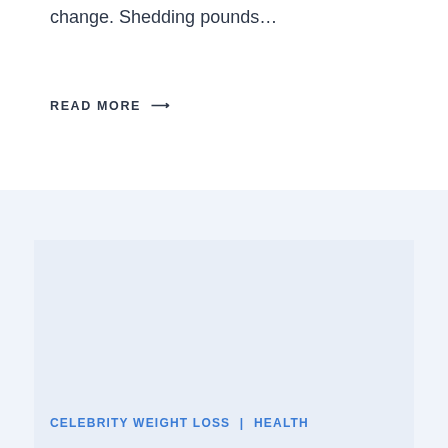change. Shedding pounds…
READ MORE →
[Figure (photo): Large image placeholder with light blue-gray background, part of an article card about celebrity weight loss]
CELEBRITY WEIGHT LOSS | HEALTH